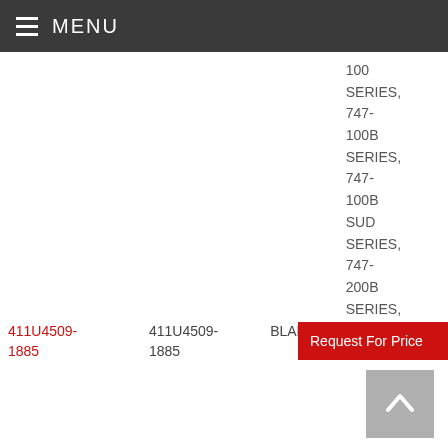MENU
| Part Link | Part Number | Type | Applicability | Action |
| --- | --- | --- | --- | --- |
| 411U4509-1885 | 411U4509-1885 | BLANKET | 100 SERIES, 747-100B SERIES, 747-100B SUD SERIES, 747-200B SERIES, 747-200C | Request For Price |